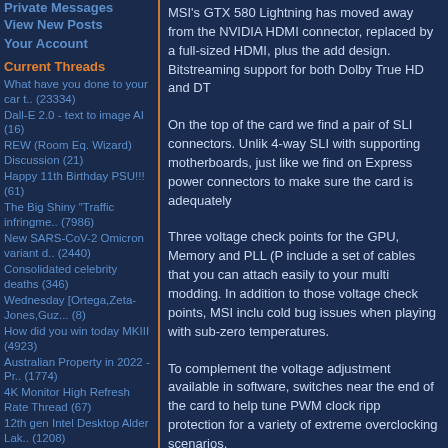Private Messages
View New Posts
Your Account
Current Threads
What have you done to your car t.. (23334)
Dall-E 2.0 - text to image AI (16)
REW (Room Eq. Wizard) Discussion (21)
Happy 11th Birthday PSU!!! (61)
The Big Shiny "Traffic infringme.. (7986)
New SARS-CoV-2 Omicron variant d.. (2440)
Consolidated celebrity deaths (346)
Wednesday [Ortega,Zeta-Jones,Guz... (8)
How did you win today MKIII (4923)
Australian Property in 2022 - Pr.. (1774)
4K Monitor High Refresh Rate Thread (67)
12th gen Intel Desktop Alder Lak.. (1208)
GPU replacement fan questions (5)
Home Loans (2324)
Accessible funds in USA (10)
MSI's GTX 580 Lightning has moved away from the NVIDIA HDMI connector, replaced by a full-sized HDMI, plus the add design. Bitstreaming support for both Dolby True HD and DT
On the top of the card we find a pair of SLI connectors. Unlik 4-way SLI with supporting motherboards, just like we find on Express power connectors to make sure the card is adequately
Three voltage check points for the GPU, Memory and PLL (P include a set of cables that you can attach easily to your multi modding. In addition to those voltage check points, MSI inclu cold bug issues when playing with sub-zero temperatures.
To complement the voltage adjustment available in software, switches near the end of the card to help tune PWM clock ripp protection for a variety of extreme overclocking scenarios.
On the power delivery front, the MSI GTX 580 Lightning inc representing one of the 12 GPU PWM phases; double the amo phases take care of the memory (3 phases) and PCI Express b